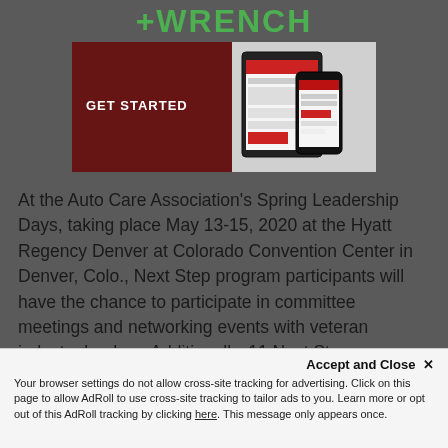+WRENCH
[Figure (screenshot): Advertisement banner with dark red background on left showing 'GET STARTED' text, and device screenshots (tablet and smartphone) on the right side showing a website/app interface.]
At the Auto Care Association's Spring Leadership Days, taking place May 13-15, 2020 at the Hyatt Regency Denver at Colorado Convention Center in Denver, Colo., Next Step program participants will have the chance to participate in committee meetings and networking events with veteran industry leaders. Additionally, 11 Next Step program participants will receive a scholarship of up to $1,100 to offset most expenses for travel and accommodations to,
Accept and Close ✕
Your browser settings do not allow cross-site tracking for advertising. Click on this page to allow AdRoll to use cross-site tracking to tailor ads to you. Learn more or opt out of this AdRoll tracking by clicking here. This message only appears once.